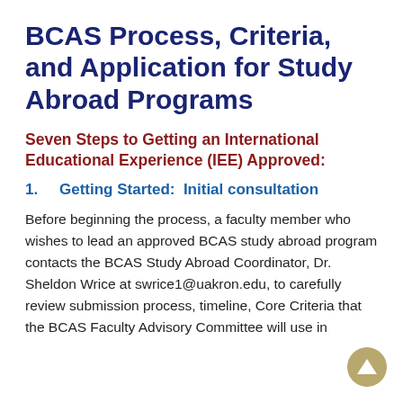BCAS Process, Criteria, and Application for Study Abroad Programs
Seven Steps to Getting an International Educational Experience (IEE) Approved:
1.        Getting Started:  Initial consultation
Before beginning the process, a faculty member who wishes to lead an approved BCAS study abroad program contacts the BCAS Study Abroad Coordinator, Dr. Sheldon Wrice at swrice1@uakron.edu, to carefully review submission process, timeline, Core Criteria that the BCAS Faculty Advisory Committee will use in